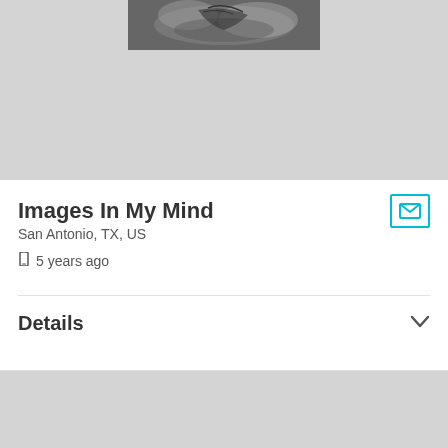[Figure (photo): Black and white photograph partially visible at top of page, appears to show a bird or similar subject with feathers/wings against a cloudy sky]
Images In My Mind
San Antonio, TX, US
5 years ago
Details